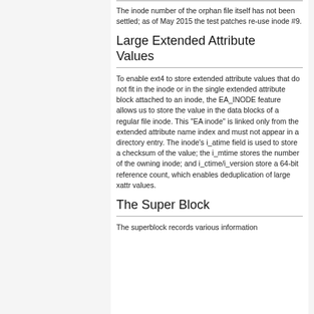The inode number of the orphan file itself has not been settled; as of May 2015 the test patches re-use inode #9.
Large Extended Attribute Values
To enable ext4 to store extended attribute values that do not fit in the inode or in the single extended attribute block attached to an inode, the EA_INODE feature allows us to store the value in the data blocks of a regular file inode. This "EA inode" is linked only from the extended attribute name index and must not appear in a directory entry. The inode's i_atime field is used to store a checksum of the value; the i_mtime stores the number of the owning inode; and i_ctime/i_version store a 64-bit reference count, which enables deduplication of large xattr values.
The Super Block
The superblock records various information